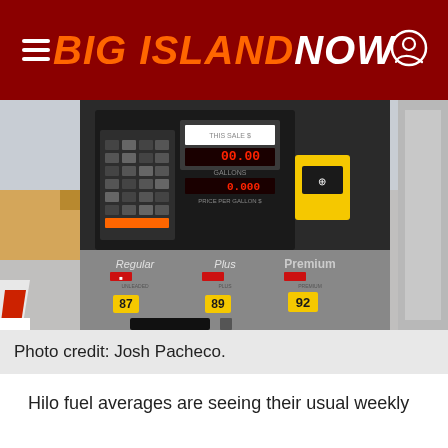BIG ISLAND NOW
[Figure (photo): Close-up photograph of a gas pump showing Regular, Plus, and Premium fuel options with octane ratings 87, 89, and 92 displayed on yellow labels. The pump has a digital display screen at the top.]
Photo credit: Josh Pacheco.
Hilo fuel averages are seeing their usual weekly